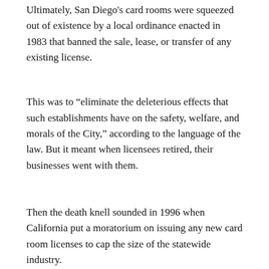Ultimately, San Diego's card rooms were squeezed out of existence by a local ordinance enacted in 1983 that banned the sale, lease, or transfer of any existing license.
This was to “eliminate the deleterious effects that such establishments have on the safety, welfare, and morals of the City,” according to the language of the law. But it meant when licensees retired, their businesses went with them.
Then the death knell sounded in 1996 when California put a moratorium on issuing any new card room licenses to cap the size of the statewide industry.